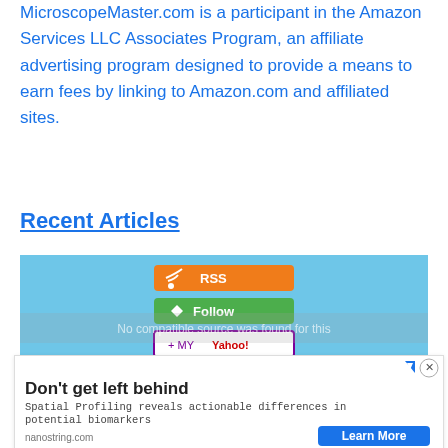MicroscopeMaster.com is a participant in the Amazon Services LLC Associates Program, an affiliate advertising program designed to provide a means to earn fees by linking to Amazon.com and affiliated sites.
Recent Articles
[Figure (other): RSS widget with orange RSS button, green Follow button, and My Yahoo! button on a light blue background, with a 'No compatible source was found for this' message overlay]
[Figure (other): Advertisement: 'Don't get left behind' - Spatial Profiling reveals actionable differences in potential biomarkers. nanostring.com. Learn More button.]